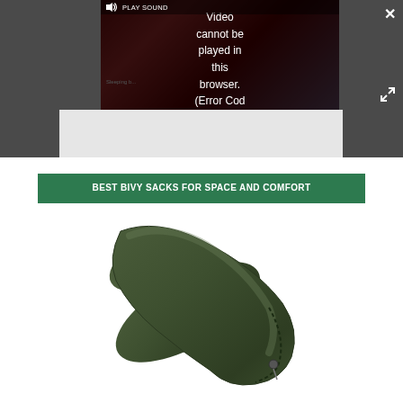[Figure (screenshot): Video player showing error message 'Video cannot be played in this browser. (Error Cod' with PLAY SOUND button and dark overlay, on a dark gray background with close and expand buttons]
BEST BIVY SACKS FOR SPACE AND COMFORT
[Figure (photo): Olive/dark green bivy sack lying flat, viewed from above at an angle, showing its elongated sleeping bag shape with zipper detail on the right side]